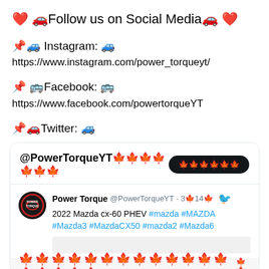❤️ 🚗Follow us on Social Media🚗 ❤️
📌🚙 Instagram: 🚙
https://www.instagram.com/power_torqueyt/
📌 🚌Facebook: 🚌
https://www.facebook.com/powertorqueYT
📌🚗Twitter: 🚙
[Figure (screenshot): Twitter/X card showing @PowerTorqueYT profile with a Follow button, and a tweet from Power Torque @PowerTorqueYT about 2022 Mazda cx-60 PHEV with hashtags #mazda #MAZDA #Mazda3 #MazdaCX50 #mazda2 #Mazda6, with a tweet image placeholder and an up-arrow scroll button in the bottom right.]